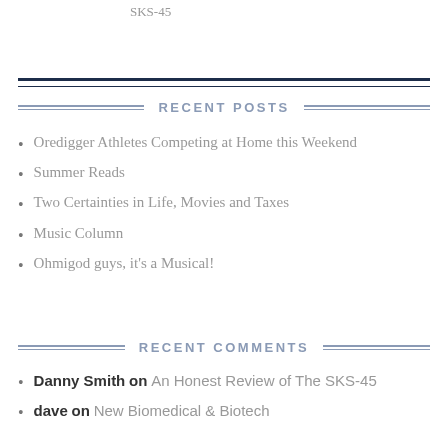SKS-45
RECENT POSTS
Oredigger Athletes Competing at Home this Weekend
Summer Reads
Two Certainties in Life, Movies and Taxes
Music Column
Ohmigod guys, it's a Musical!
RECENT COMMENTS
Danny Smith on An Honest Review of The SKS-45
dave on New Biomedical & Biotech